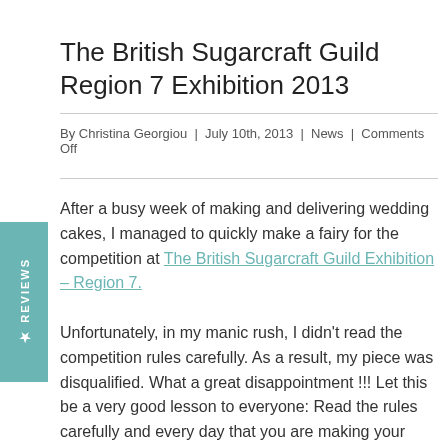The British Sugarcraft Guild Region 7 Exhibition 2013
By Christina Georgiou | July 10th, 2013 | News | Comments Off
After a busy week of making and delivering wedding cakes, I managed to quickly make a fairy for the competition at The British Sugarcraft Guild Exhibition – Region 7. Unfortunately, in my manic rush, I didn't read the competition rules carefully. As a result, my piece was disqualified. What a great disappointment !!! Let this be a very good lesson to everyone: Read the rules carefully and every day that you are making your competition piece, just as a constant reminder of the